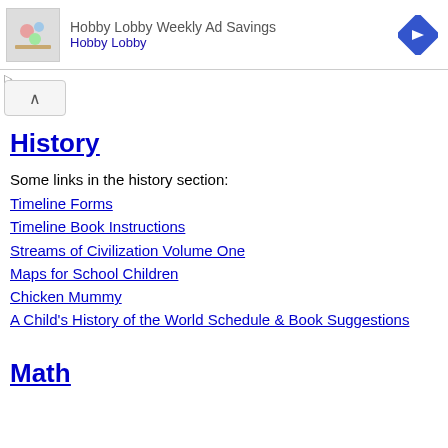[Figure (screenshot): Hobby Lobby Weekly Ad Savings advertisement banner with craft supply image thumbnail, blue arrow navigation icon, and 'Hobby Lobby' text link]
History
Some links in the history section:
Timeline Forms
Timeline Book Instructions
Streams of Civilization Volume One
Maps for School Children
Chicken Mummy
A Child's History of the World Schedule & Book Suggestions
Math